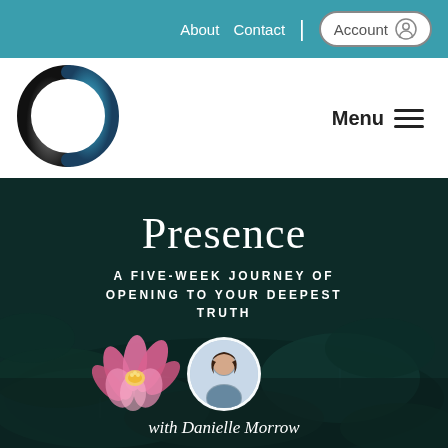About | Contact | Account
[Figure (logo): Circular enso/zen circle logo in dark gray and blue gradient]
Menu
[Figure (photo): Dark hero background showing water lily pads and a pink lotus flower, with a circular portrait photo of Danielle Morrow]
Presence
A FIVE-WEEK JOURNEY OF OPENING TO YOUR DEEPEST TRUTH
with Danielle Morrow